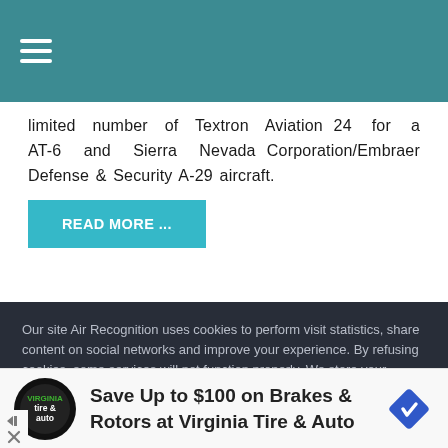≡ (navigation hamburger menu)
24 for a limited number of Textron Aviation AT-6 and Sierra Nevada Corporation/Embraer Defense & Security A-29 aircraft.
READ MORE ...
Our site Air Recognition uses cookies to perform visit statistics, share content on social networks and improve your experience. By refusing cookies, some services will not function properly. We store your choice for 30 days. You can change your mind by clicking on the 'Cookies' button at the bottom left of every page of our site. Learn more
Save Up to $100 on Brakes & Rotors at Virginia Tire & Auto